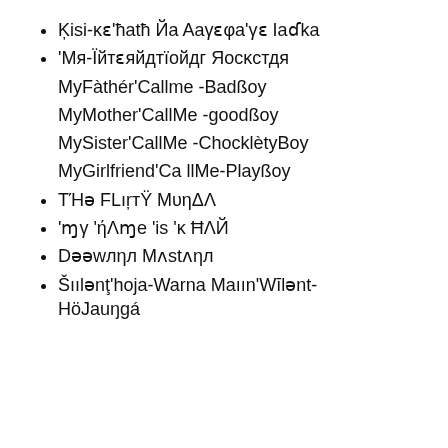Ķisi-ĸɛ'ħatħ Йa Aaγɛφa'γɛ Iaɗka
'Мя-Їйтɛяйдтїойдг Яосĸстдя
MyFàthér'Callme -BadßoyMyMother'CallMe -goodßoyMySister'CallMe -ChocklètyßoyMyGirlfriend'Ca llMe-Playßoy
TΉə FLıŗтΫ MυηΔΛ
'ɱγ 'ήΛɱe 'is 'ĸ ĦΛЙ
Dəəwлηл Мʌstʌηл
Šıılənţ'hoja-Warna Maıın'Wīlənt-HöJauŋgá